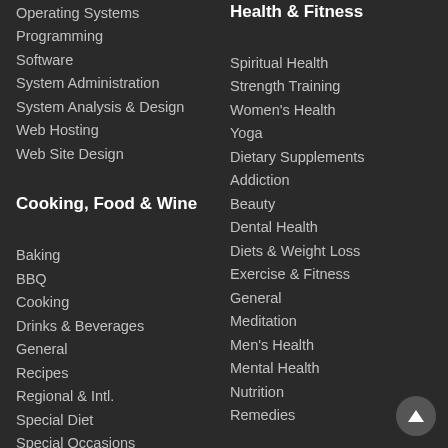Operating Systems
Programming
Software
System Administration
System Analysis & Design
Web Hosting
Web Site Design
Cooking, Food & Wine
Baking
BBQ
Cooking
Drinks & Beverages
General
Recipes
Regional & Intl.
Special Diet
Special Occasions
Health & Fitness
Spiritual Health
Strength Training
Women's Health
Yoga
Dietary Supplements
Addiction
Beauty
Dental Health
Diets & Weight Loss
Exercise & Fitness
General
Meditation
Men's Health
Mental Health
Nutrition
Remedies